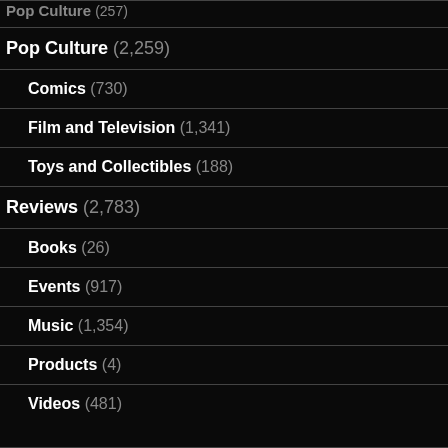Pop Culture (2,259)
Comics (730)
Film and Television (1,341)
Toys and Collectibles (188)
Reviews (2,783)
Books (26)
Events (917)
Music (1,354)
Products (4)
Videos (481)